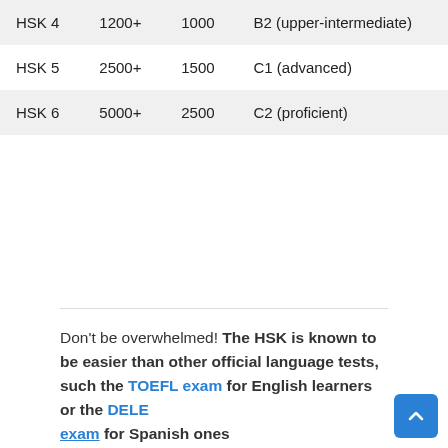| HSK 4 | 1200+ | 1000 | B2 (upper-intermediate) |
| HSK 5 | 2500+ | 1500 | C1 (advanced) |
| HSK 6 | 5000+ | 2500 | C2 (proficient) |
Don't be overwhelmed! The HSK is known to be easier than other official language tests, such the TOEFL exam for English learners or the DELE exam for Spanish ones.